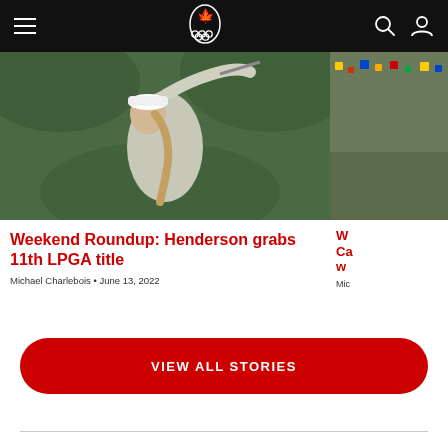Canadian Olympic Committee website header navigation
[Figure (photo): Female golfer swinging a club, wearing white cap and white outfit, green foliage background — main article photo for Henderson LPGA story]
Weekend Roundup: Henderson grabs 11th LPGA title
Michael Charlebois • June 13, 2022
[Figure (photo): Partial view of a second article photo (cropped on right edge) — appears to be a sporting event]
W... Ca... w...
Mic...
VIEW ALL STORIES